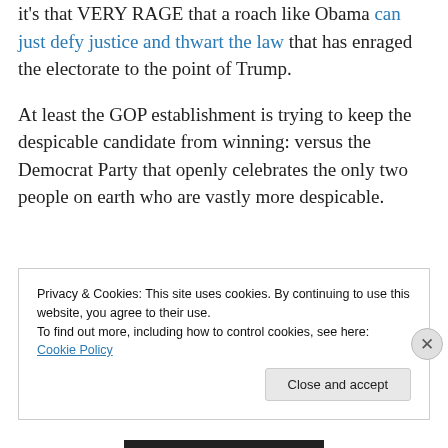it's that VERY RAGE that a roach like Obama can just defy justice and thwart the law that has enraged the electorate to the point of Trump.
At least the GOP establishment is trying to keep the despicable candidate from winning: versus the Democrat Party that openly celebrates the only two people on earth who are vastly more despicable.
Privacy & Cookies: This site uses cookies. By continuing to use this website, you agree to their use. To find out more, including how to control cookies, see here: Cookie Policy